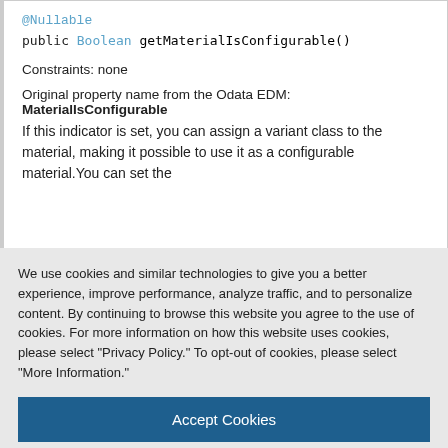@Nullable
public Boolean getMaterialIsConfigurable()
Constraints: none
Original property name from the Odata EDM: MaterialIsConfigurable
If this indicator is set, you can assign a variant class to the material, making it possible to use it as a configurable material.You can set the
We use cookies and similar technologies to give you a better experience, improve performance, analyze traffic, and to personalize content. By continuing to browse this website you agree to the use of cookies. For more information on how this website uses cookies, please select "Privacy Policy." To opt-out of cookies, please select "More Information."
Accept Cookies
More Information
Privacy Policy | Powered by: TrustArc
public String getMaterialUsabilityProfile()